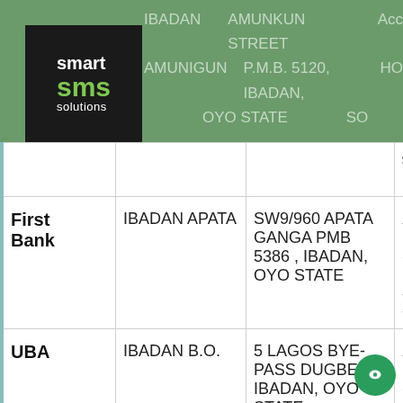smart sms solutions | IBADAN AMUNIGUN | AMUNKUN STREET P.M.B. 5120, IBADAN, OYO STATE | Acc 2020
| Bank | Branch | Address | Account |
| --- | --- | --- | --- |
|  |  |  | Acc
2020 |
| First Bank | IBADAN APATA | SW9/960 APATA GANGA PMB 5386 , IBADAN, OYO STATE | Acc
HOR
SOL

Acc
2020 |
| UBA | IBADAN B.O. | 5 LAGOS BYE-PASS DUGBE, IBADAN, OYO STATE | Acc
HOR
SOL

Acc |